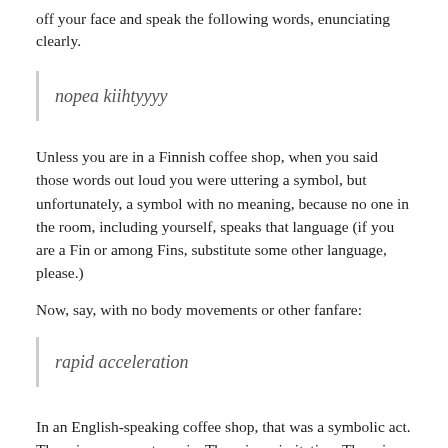off your face and speak the following words, enunciating clearly.
nopea kiihtyyyy
Unless you are in a Finnish coffee shop, when you said those words out loud you were uttering a symbol, but unfortunately, a symbol with no meaning, because no one in the room, including yourself, speaks that language (if you are a Fin or among Fins, substitute some other language, please.)
Now, say, with no body movements or other fanfare:
rapid acceleration
In an English-speaking coffee shop, that was a symbolic act. There is no onomatopoeia. There is no imitation. There is no